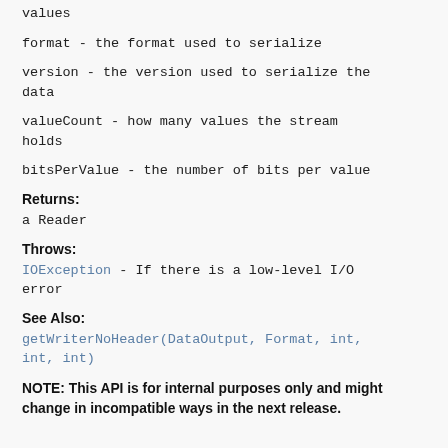values
format - the format used to serialize
version - the version used to serialize the data
valueCount - how many values the stream holds
bitsPerValue - the number of bits per value
Returns:
a Reader
Throws:
IOException - If there is a low-level I/O error
See Also:
getWriterNoHeader(DataOutput, Format, int, int, int)
NOTE: This API is for internal purposes only and might change in incompatible ways in the next release.